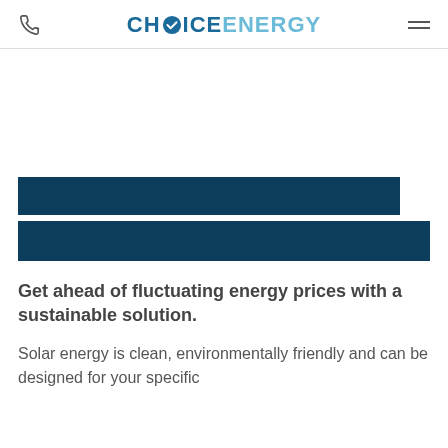CHOICE ENERGY
[Figure (other): Two dark navy/teal horizontal bars representing a hero image placeholder or UI element]
Get ahead of fluctuating energy prices with a sustainable solution.
Solar energy is clean, environmentally friendly and can be designed for your specific